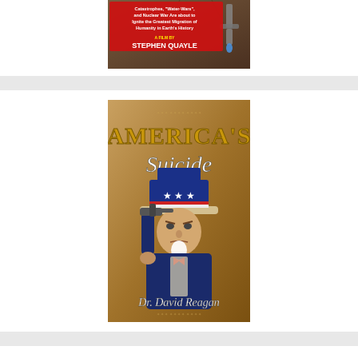[Figure (illustration): Book/film cover for Stephen Quayle's film. Dark red background with cracked earth texture and a water tap/faucet on the right. Red text box reads: 'Catastrophes, Water-Wars, and Nuclear War Are about to Ignite the Greatest Migration of Humanity in Earth's History'. Below in yellow: 'A FILM BY'. Large white text: 'STEPHEN QUAYLE'.]
[Figure (illustration): Book cover for 'America's Suicide' by Dr. David Reagan. Brown/tan background with ornate scrollwork. Large metallic gold text reads 'AMERICA'S' at top. White script text reads 'Suicide'. Center image shows Uncle Sam figure in patriotic top hat (red/white/blue with stars) holding a gun to his head, wearing a navy suit and red bow tie. Bottom text in white script: 'Dr. David Reagan'.]